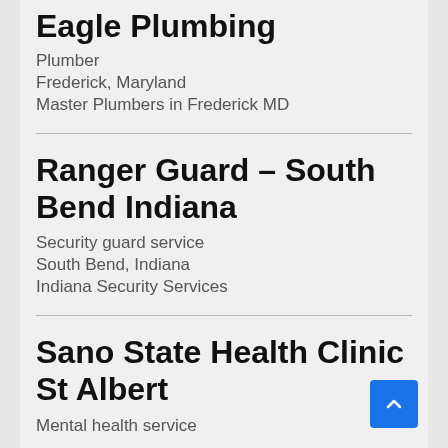Eagle Plumbing
Plumber
Frederick, Maryland
Master Plumbers in Frederick MD
Ranger Guard – South Bend Indiana
Security guard service
South Bend, Indiana
Indiana Security Services
Sano State Health Clinic St Albert
Mental health service